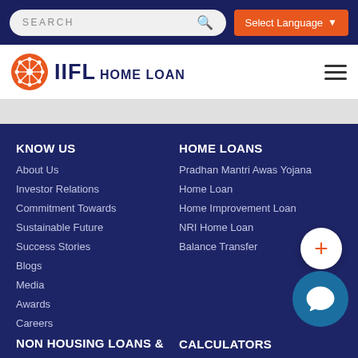[Figure (screenshot): Top navigation bar with search box and Select Language button on dark navy background]
[Figure (logo): IIFL Home Loan logo with orange mandala icon on white header bar with hamburger menu]
KNOW US
About Us
Investor Relations
Commitment Towards
Sustainable Future
Success Stories
Blogs
Media
Awards
Careers
HOME LOANS
Pradhan Mantri Awas Yojana
Home Loan
Home Improvement Loan
NRI Home Loan
Balance Transfer
NON HOUSING LOANS &
CALCULATORS